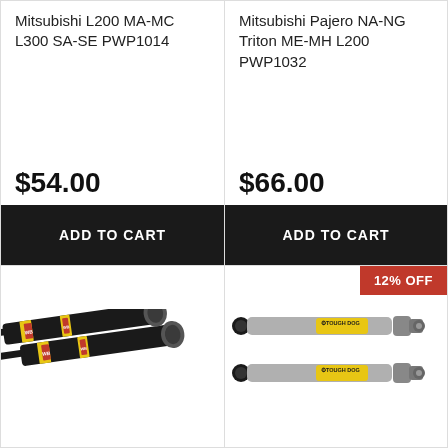Mitsubishi L200 MA-MC L300 SA-SE PWP1014
$54.00
ADD TO CART
Mitsubishi Pajero NA-NG Triton ME-MH L200 PWP1032
$66.00
ADD TO CART
[Figure (photo): Black shock absorber pair product image]
[Figure (photo): Tough Dog grey shock absorbers pair with 12% OFF badge]